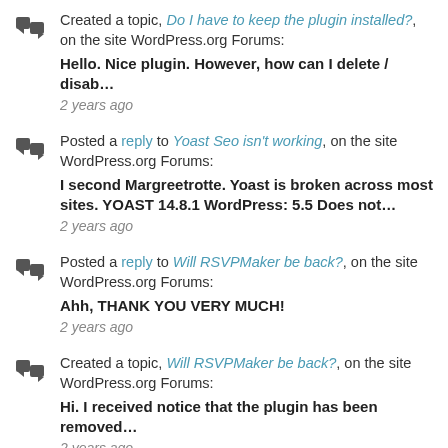Created a topic, Do I have to keep the plugin installed?, on the site WordPress.org Forums: Hello. Nice plugin. However, how can I delete / disab… 2 years ago
Posted a reply to Yoast Seo isn't working, on the site WordPress.org Forums: I second Margreetrotte. Yoast is broken across most sites. YOAST 14.8.1 WordPress: 5.5 Does not… 2 years ago
Posted a reply to Will RSVPMaker be back?, on the site WordPress.org Forums: Ahh, THANK YOU VERY MUCH! 2 years ago
Created a topic, Will RSVPMaker be back?, on the site WordPress.org Forums: Hi. I received notice that the plugin has been removed… 2 years ago
Created a topic, Works Well!, on the site WordPress.org Forums: No problems yet. This is a big time-saver!